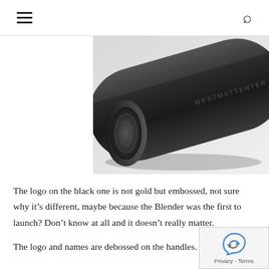≡  🔍
[Figure (photo): Close-up photo of a black cylindrical foam roller with embossed branding text on the surface, viewed at an angle showing the end cap with a textured pattern. The background is light grey/white.]
The logo on the black one is not gold but embossed, not sure why it's different, maybe because the Blender was the first to launch? Don't know at all and it doesn't really matter.
The logo and names are debossed on the handles.